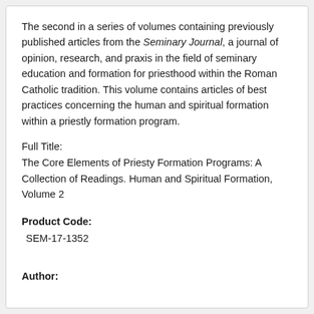The second in a series of volumes containing previously published articles from the Seminary Journal, a journal of opinion, research, and praxis in the field of seminary education and formation for priesthood within the Roman Catholic tradition. This volume contains articles of best practices concerning the human and spiritual formation within a priestly formation program.
Full Title:
The Core Elements of Priesty Formation Programs: A Collection of Readings. Human and Spiritual Formation, Volume 2
Product Code:
SEM-17-1352
Author: